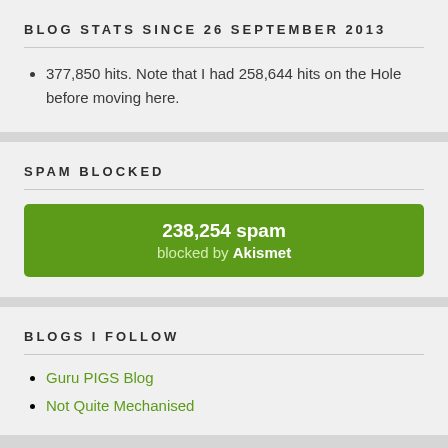BLOG STATS SINCE 26 SEPTEMBER 2013
377,850 hits. Note that I had 258,644 hits on the Hole before moving here.
SPAM BLOCKED
[Figure (infographic): Green banner showing 238,254 spam blocked by Akismet]
BLOGS I FOLLOW
Guru PIGS Blog
Not Quite Mechanised